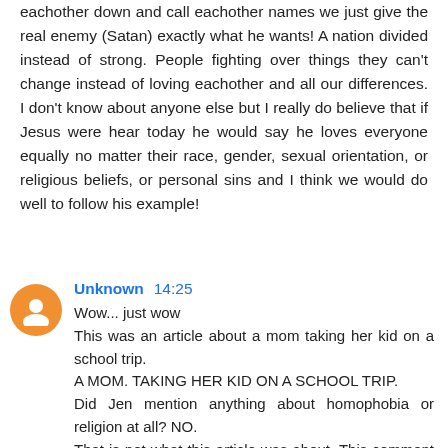eachother down and call eachother names we just give the real enemy (Satan) exactly what he wants! A nation divided instead of strong. People fighting over things they can't change instead of loving eachother and all our differences. I don't know about anyone else but I really do believe that if Jesus were hear today he would say he loves everyone equally no matter their race, gender, sexual orientation, or religious beliefs, or personal sins and I think we would do well to follow his example!
Unknown  14:25
Wow... just wow
This was an article about a mom taking her kid on a school trip.
A MOM. TAKING HER KID ON A SCHOOL TRIP.
Did Jen mention anything about homophobia or religion at all? NO.
That is not what this article was about. This comment thread is getting ridiculous.